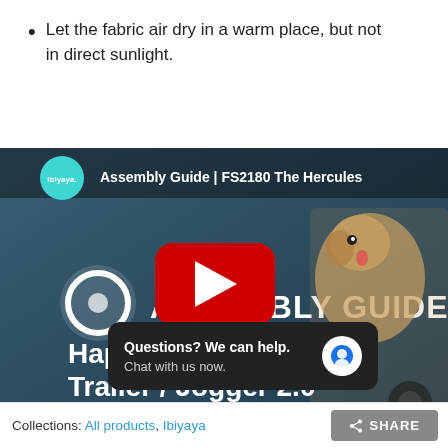Let the fabric air dry in a warm place, but not in direct sunlight.
[Figure (screenshot): YouTube video thumbnail for 'Assembly Guide | FS2180 The Hercules Happy Pet Trailer/Jogger 2.0' by ibiyaya, with a red YouTube play button in the center, showing a dog in a pet stroller and text 'ASSEMBLY GUIDE Happy Pet Trailer / Jogger 2.0'. Below the video is a 'Watch on YouTube' prompt.]
Questions? We can help. Chat with us now.
Collections: All products, Ibiyaya  SHARE